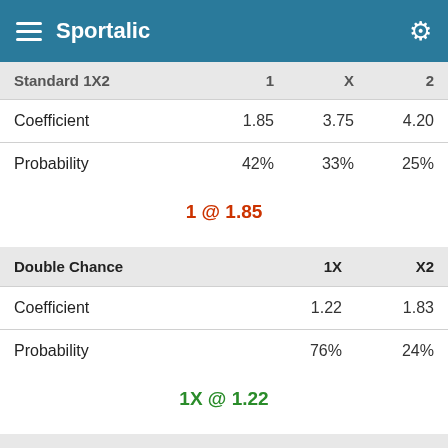Sportalic
| Standard 1X2 | 1 | X | 2 |
| --- | --- | --- | --- |
| Coefficient | 1.85 | 3.75 | 4.20 |
| Probability | 42% | 33% | 25% |
1 @ 1.85
| Double Chance | 1X | X2 |
| --- | --- | --- |
| Coefficient | 1.22 | 1.83 |
| Probability | 76% | 24% |
1X @ 1.22
| Over/Under 1.5 | Ovr | Und |
| --- | --- | --- |